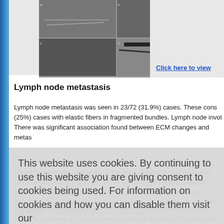[Figure (photo): Grid of microscopy thumbnail images showing tissue/fiber samples]
Click here to view
Lymph node metastasis
Lymph node metastasis was seen in 23/72 (31.9%) cases. These cons (25%) cases with elastic fibers in fragmented bundles. Lymph node invol There was significant association found between ECM changes and metas
This website uses cookies. By continuing to use this website you are giving consent to cookies being used. For information on cookies and how you can disable them visit our Privacy and Cookie Policy.
AGREE & PROCEED
r burden, especially among the lo the habit of tobacco and betel quid chewing. the etiology of this group of and delay in seeking medical attention. The treatment is surgery followed plan further treatment (radiotherapy or chemotherapy) and to assess pro margins. Hence, the importance of detecting changes in tumor adjacent tis
The present study addresses the changes in ECM. While 42 (58.3%) cas cases showed a host immune response in the form of lymphocytic infiltrati